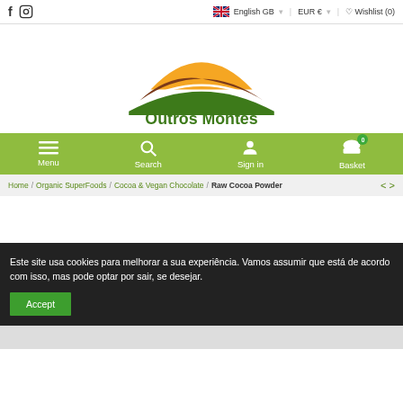f  Instagram  |  English GB  |  EUR €  |  Wishlist (0)
[Figure (logo): Outros Montes logo: three layered mountain silhouettes in orange, brown, and green, with text 'Outros Montes' in green below]
[Figure (infographic): Navigation bar with green background showing Menu, Search, Sign in, and Basket (0) icons in white]
Home / Organic SuperFoods / Cocoa & Vegan Chocolate / Raw Cocoa Powder
Este site usa cookies para melhorar a sua experiência. Vamos assumir que está de acordo com isso, mas pode optar por sair, se desejar.
Accept